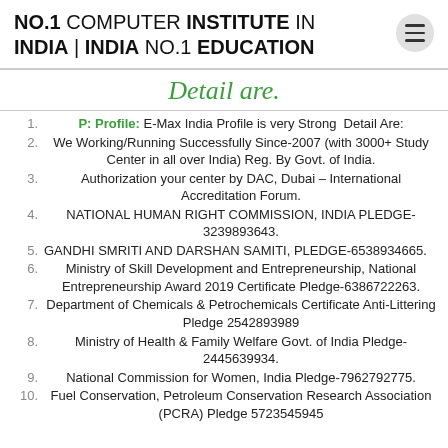NO.1 COMPUTER INSTITUTE IN INDIA | INDIA NO.1 EDUCATION
Detail are.
P: Profile: E-Max India Profile is very Strong Detail Are:
We Working/Running Successfully Since-2007 (with 3000+ Study Center in all over India) Reg. By Govt. of India.
Authorization your center by DAC, Dubai – International Accreditation Forum.
NATIONAL HUMAN RIGHT COMMISSION, INDIA PLEDGE-3239893643.
GANDHI SMRITI AND DARSHAN SAMITI, PLEDGE-6538934665.
Ministry of Skill Development and Entrepreneurship, National Entrepreneurship Award 2019 Certificate Pledge-6386722263.
Department of Chemicals & Petrochemicals Certificate Anti-Littering Pledge 2542893989
Ministry of Health & Family Welfare Govt. of India Pledge-2445639934.
National Commission for Women, India Pledge-7962792775.
Fuel Conservation, Petroleum Conservation Research Association (PCRA) Pledge 5723545945